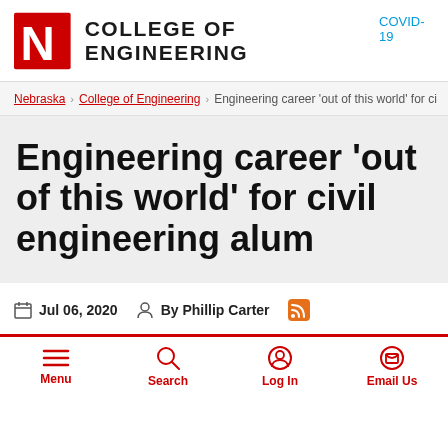COLLEGE OF ENGINEERING
COVID-19
Nebraska › College of Engineering › Engineering career 'out of this world' for ci
Engineering career 'out of this world' for civil engineering alum
Jul 06, 2020   By Phillip Carter
Menu   Search   Log In   Email Us